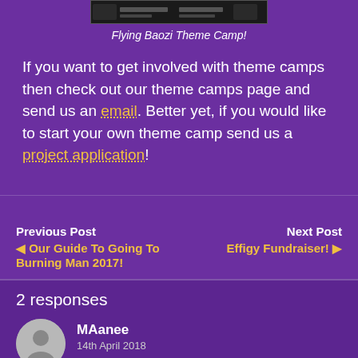[Figure (screenshot): Screenshot of a mobile app or ticket interface showing 'Flying Baozi Theme Camp' and 'Dragon Burn' labels]
Flying Baozi Theme Camp!
If you want to get involved with theme camps then check out our theme camps page and send us an email. Better yet, if you would like to start your own theme camp send us a project application!
Previous Post
◀ Our Guide To Going To Burning Man 2017!
Next Post
Effigy Fundraiser! ▶
2 responses
MAanee
14th April 2018